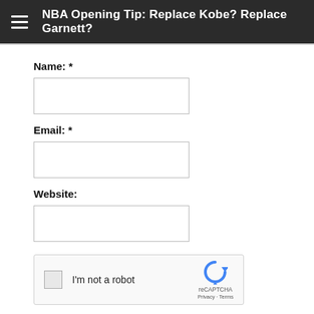NBA Opening Tip: Replace Kobe? Replace Garnett?
Name: *
[Figure (other): Empty text input field for Name]
Email: *
[Figure (other): Empty text input field for Email]
Website:
[Figure (other): Empty text input field for Website]
[Figure (other): reCAPTCHA widget with checkbox labeled I'm not a robot]